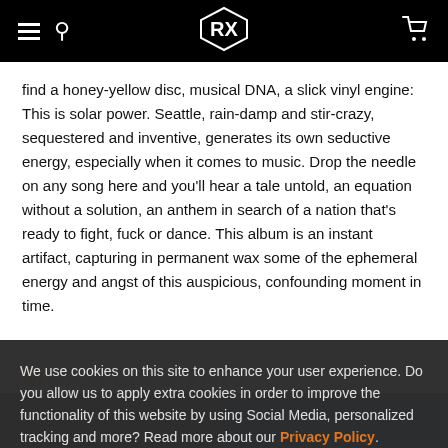Navigation header with hamburger menu, search icon, logo, and cart icon
find a honey-yellow disc, musical DNA, a slick vinyl engine: This is solar power. Seattle, rain-damp and stir-crazy, sequestered and inventive, generates its own seductive energy, especially when it comes to music. Drop the needle on any song here and you'll hear a tale untold, an equation without a solution, an anthem in search of a nation that's ready to fight, fuck or dance. This album is an instant artifact, capturing in permanent wax some of the ephemeral energy and angst of this auspicious, confounding moment in time.
MORE LIKE THIS
We use cookies on this site to enhance your user experience. Do you allow us to apply extra cookies in order to improve the functionality of this website by using Social Media, personalized tracking and more? Read more about our Privacy Policy.
Yes
No